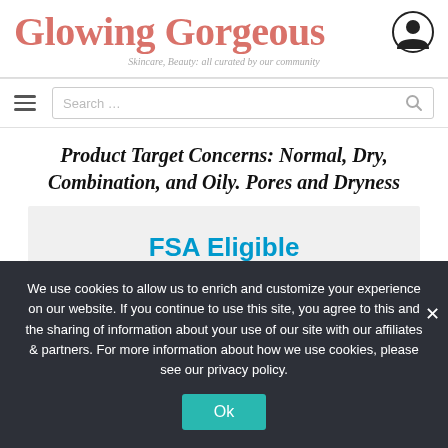Glowing Gorgeous
Skincare, Beauty: all curated by our community
Product Target Concerns: Normal, Dry, Combination, and Oily. Pores and Dryness
[Figure (screenshot): FSA Eligible Summer Essentials promotional banner with light gray background and cyan/blue bold text]
We use cookies to allow us to enrich and customize your experience on our website. If you continue to use this site, you agree to this and the sharing of information about your use of our site with our affiliates & partners. For more information about how we use cookies, please see our privacy policy.